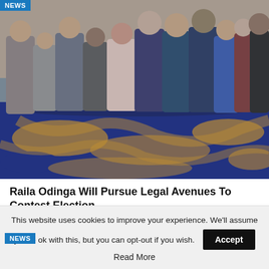[Figure (photo): Group photo of approximately 12 people standing together indoors on a decorative blue and gold carpet, with a NEWS badge in the top-left corner.]
Raila Odinga Will Pursue Legal Avenues To Contest Election…
[Figure (photo): Partial photo strip showing a second news article with a NEWS badge, partially visible images.]
This website uses cookies to improve your experience. We'll assume you're ok with this, but you can opt-out if you wish.
Accept
Read More